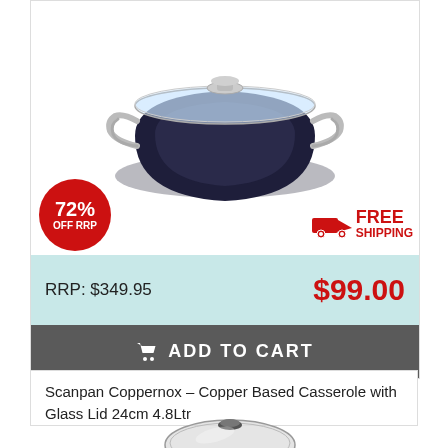[Figure (photo): Dark navy/black non-stick wok/casserole with glass lid and silver handles]
72% OFF RRP
FREE SHIPPING
RRP: $349.95
$99.00
ADD TO CART
Scanpan Coppernox – Copper Based Casserole with Glass Lid 24cm 4.8Ltr
[Figure (photo): Stainless steel casserole with glass lid, partially visible at bottom of page]